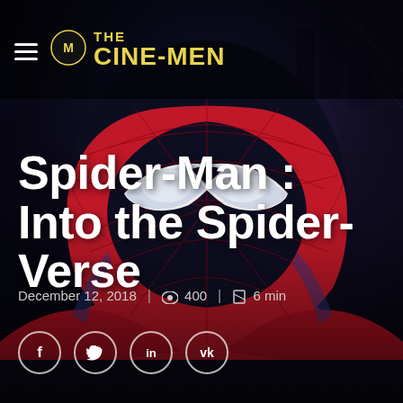[Figure (illustration): Spider-Man: Into the Spider-Verse character close-up (Miles Morales in spider suit) against dark city background with blue and purple tones]
The Cine-Men logo with hamburger menu icon
Spider-Man : Into the Spider-Verse
December 12, 2018 | 👁 400 | ⌛ 6 min
Social share buttons: f (Facebook), t (Twitter), in (LinkedIn), vk (VK)